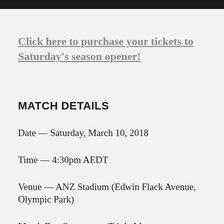Click here to purchase your tickets to Saturday's season opener!
MATCH DETAILS
Date — Saturday, March 10, 2018
Time — 4:30pm AEDT
Venue — ANZ Stadium (Edwin Flack Avenue, Olympic Park)
Match Day Sponsor — Triple M